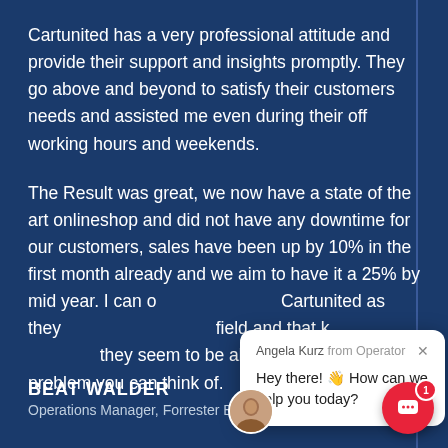Cartunited has a very professional attitude and provide their support and insights promptly. They go above and beyond to satisfy their customers needs and assisted me even during their off working hours and weekends.
The Result was great, we now have a state of the art onlineshop and did not have any downtime for our customers, sales have been up by 10% in the first month already and we aim to have it a 25% by mid year. I can only recommend Cartunited as they are experts in their field and that know their stuff and they seem to be able to tackle every problem you can think of.
[Figure (screenshot): Chat popup from Angela Kurz from Operator saying 'Hey there! 👋 How can we help you today?' with a close button and an avatar photo of a woman.]
BEAT WALDER
Operations Manager, Forrester Beauty